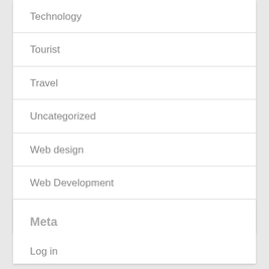Technology
Tourist
Travel
Uncategorized
Web design
Web Development
Wedding
Meta
Log in